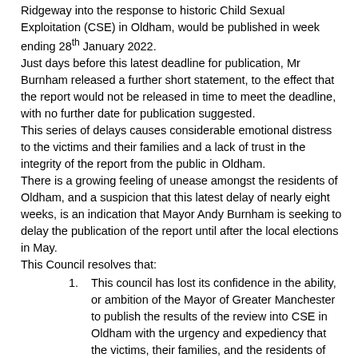the independent report by Malcolm Newsam CBE and Gary Ridgeway into the response to historic Child Sexual Exploitation (CSE) in Oldham, would be published in week ending 28th January 2022.
Just days before this latest deadline for publication, Mr Burnham released a further short statement, to the effect that the report would not be released in time to meet the deadline, with no further date for publication suggested.
This series of delays causes considerable emotional distress to the victims and their families and a lack of trust in the integrity of the report from the public in Oldham.
There is a growing feeling of unease amongst the residents of Oldham, and a suspicion that this latest delay of nearly eight weeks, is an indication that Mayor Andy Burnham is seeking to delay the publication of the report until after the local elections in May.
This Council resolves that:
This council has lost its confidence in the ability, or ambition of the Mayor of Greater Manchester to publish the results of the review into CSE in Oldham with the urgency and expediency that the victims, their families, and the residents of Oldham